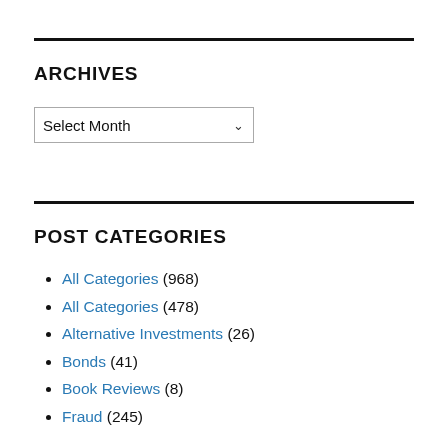ARCHIVES
Select Month (dropdown)
POST CATEGORIES
All Categories (968)
All Categories (478)
Alternative Investments (26)
Bonds (41)
Book Reviews (8)
Fraud (245)